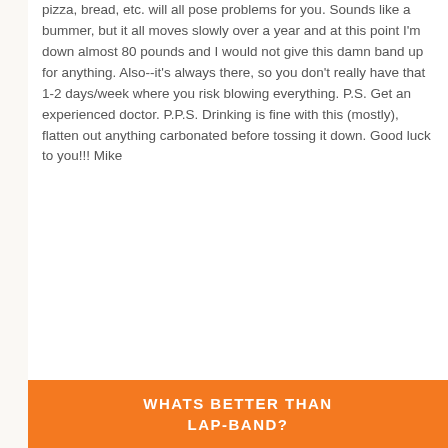pizza, bread, etc. will all pose problems for you. Sounds like a bummer, but it all moves slowly over a year and at this point I'm down almost 80 pounds and I would not give this damn band up for anything. Also--it's always there, so you don't really have that 1-2 days/week where you risk blowing everything. P.S. Get an experienced doctor. P.P.S. Drinking is fine with this (mostly), flatten out anything carbonated before tossing it down. Good luck to you!!! Mike
WHATS BETTER THAN LAP-BAND?